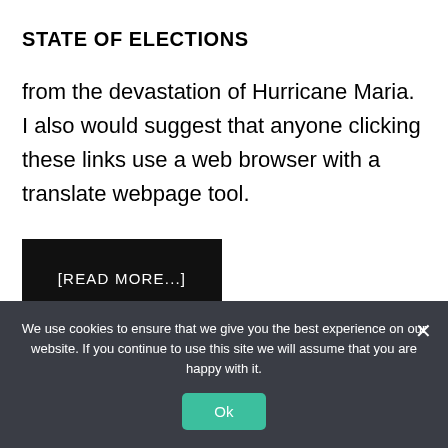STATE OF ELECTIONS
from the devastation of Hurricane Maria. I also would suggest that anyone clicking these links use a web browser with a translate webpage tool.
[READ MORE...]
We use cookies to ensure that we give you the best experience on our website. If you continue to use this site we will assume that you are happy with it.